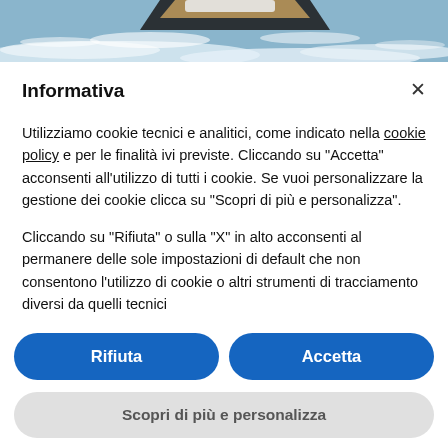[Figure (photo): Aerial view of a speedboat cutting through white ocean waves, with blue-grey water and a dark hull visible.]
Informativa
Utilizziamo cookie tecnici e analitici, come indicato nella cookie policy e per le finalità ivi previste. Cliccando su "Accetta" acconsenti all'utilizzo di tutti i cookie. Se vuoi personalizzare la gestione dei cookie clicca su "Scopri di più e personalizza".
Cliccando su "Rifiuta" o sulla "X" in alto acconsenti al permanere delle sole impostazioni di default che non consentono l'utilizzo di cookie o altri strumenti di tracciamento diversi da quelli tecnici
Rifiuta
Accetta
Scopri di più e personalizza